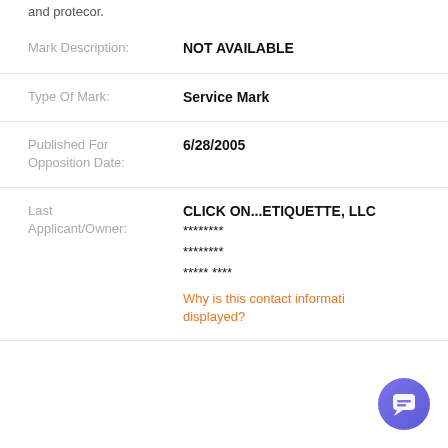and protecor.
| Mark Description: | NOT AVAILABLE |
| Type Of Mark: | Service Mark |
| Published For Opposition Date: | 6/28/2005 |
| Last Applicant/Owner: | CLICK ON...ETIQUETTE, LLC
********
********
***** ****
Why is this contact information displayed? |